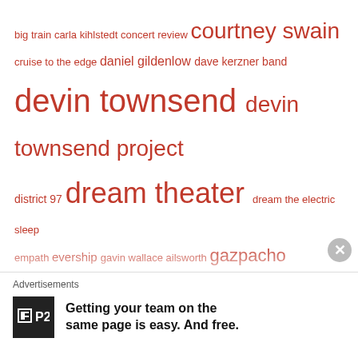[Figure (infographic): Tag cloud of music/podcast related terms in various font sizes, all in terracotta/orange-red color. Terms include: big train, carla kihlstedt, concert review, courtney swain, cruise to the edge, daniel gildenlow, dave kerzner band, devin townsend, devin townsend project, district 97, dream theater, dream the electric sleep, empath, evership, gavin wallace ailsworth, gazpacho, genesis, haken, iamthemorning, instrumental prog, john petrucci, John Wesley, jon anderson, jordan rudess, king crimson, kings x, kscope, leprous, major parkinson, marillion, mike keneally, Mike Portnoy, music, neal morse, nick dvirgilio, pain of salvation, patreon, Podcast, porcupine tree, Prog, prog festivals, proglodytes, proglodytes radio, proglodytes radio podcast, prog metal]
Advertisements
[Figure (logo): P2 logo - black square with white P2 text]
Getting your team on the same page is easy. And free.